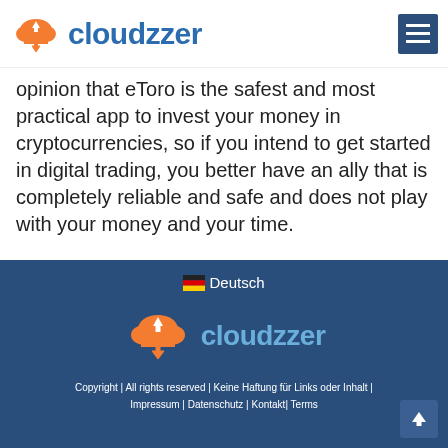[Figure (logo): Cloudzzer logo with orange cloud icon and blue text 'cloudzzer']
opinion that eToro is the safest and most practical app to invest your money in cryptocurrencies, so if you intend to get started in digital trading, you better have an ally that is completely reliable and safe and does not play with your money and your time.
🇩🇪 Deutsch | Cloudzzer footer logo | Copyright | All rights reserved | Keine Haftung für Links oder Inhalt | Impressum | Datenschutz | Kontakt | Terms